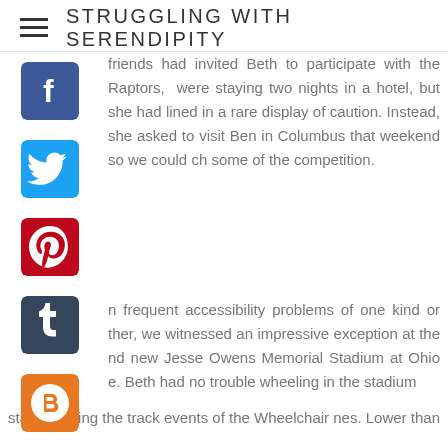STRUGGLING WITH SERENDIPITY
friends had invited Beth to participate with the Raptors, were staying two nights in a hotel, but she had lined in a rare display of caution. Instead, she asked to visit Ben in Columbus that weekend so we could ch some of the competition.
n frequent accessibility problems of one kind or ther, we witnessed an impressive exception at the nd new Jesse Owens Memorial Stadium at Ohio e. Beth had no trouble wheeling in the stadium stands during the track events of the Wheelchair nes. Lower than usual inclines allowed for independent wheeling. With other ramps, I walked right t to her and held the closest handle on the back of chair, helping discreetly while she also pushed the big wheels.
From the stands, we cheered loudly for our friends